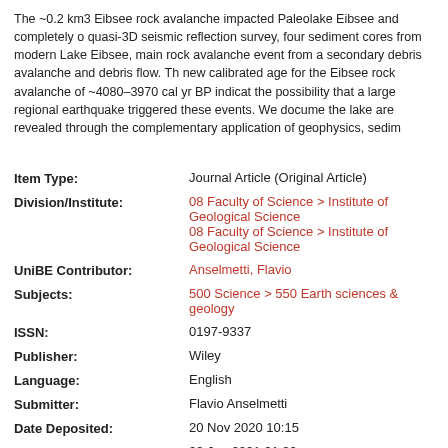The ~0.2 km3 Eibsee rock avalanche impacted Paleolake Eibsee and completely o quasi-3D seismic reflection survey, four sediment cores from modern Lake Eibsee, main rock avalanche event from a secondary debris avalanche and debris flow. Th new calibrated age for the Eibsee rock avalanche of ~4080–3970 cal yr BP indicat the possibility that a large regional earthquake triggered these events. We docume the lake are revealed through the complementary application of geophysics, sedim
| Field | Value |
| --- | --- |
| Item Type: | Journal Article (Original Article) |
| Division/Institute: | 08 Faculty of Science > Institute of Geological Science
08 Faculty of Science > Institute of Geological Science |
| UniBE Contributor: | Anselmetti, Flavio |
| Subjects: | 500 Science > 550 Earth sciences & geology |
| ISSN: | 0197-9337 |
| Publisher: | Wiley |
| Language: | English |
| Submitter: | Flavio Anselmetti |
| Date Deposited: | 20 Nov 2020 10:15 |
| Last Modified: | 23 Jan 2021 01:32 |
| Publisher DOI: | 10.1002/esp.5025 |
| BORIS DOI: | 10.7892/boris.148305 |